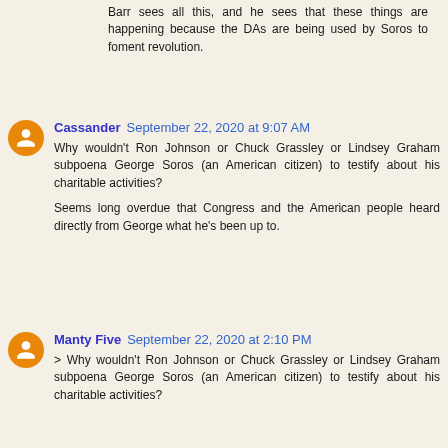Barr sees all this, and he sees that these things are happening because the DAs are being used by Soros to foment revolution.
Cassander September 22, 2020 at 9:07 AM
Why wouldn't Ron Johnson or Chuck Grassley or Lindsey Graham subpoena George Soros (an American citizen) to testify about his charitable activities?
Seems long overdue that Congress and the American people heard directly from George what he's been up to.
Manty Five September 22, 2020 at 2:10 PM
> Why wouldn't Ron Johnson or Chuck Grassley or Lindsey Graham subpoena George Soros (an American citizen) to testify about his charitable activities?